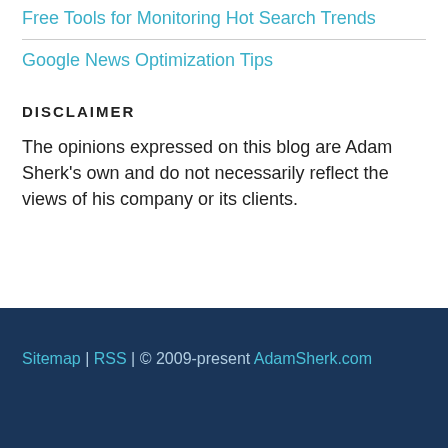Free Tools for Monitoring Hot Search Trends
Google News Optimization Tips
DISCLAIMER
The opinions expressed on this blog are Adam Sherk's own and do not necessarily reflect the views of his company or its clients.
Sitemap | RSS | © 2009-present AdamSherk.com